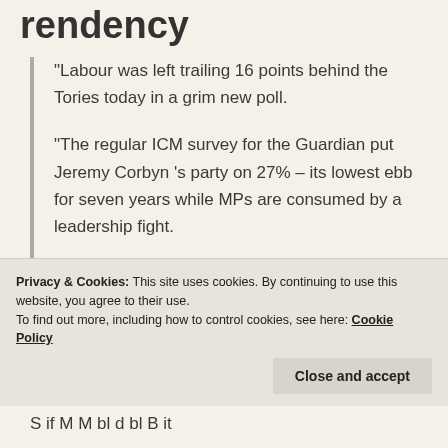rendency
“Labour was left trailing 16 points behind the Tories today in a grim new poll.
“The regular ICM survey for the Guardian put Jeremy Corbyn’s party on 27% – its lowest ebb for seven years while MPs are consumed by a leadership fight.
“Theresa May’s Conservatives were on a…
Privacy & Cookies: This site uses cookies. By continuing to use this website, you agree to their use.
To find out more, including how to control cookies, see here: Cookie Policy
Close and accept